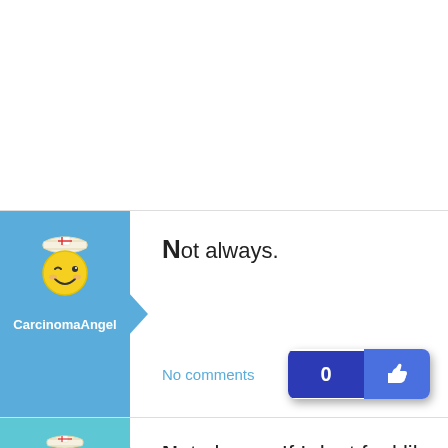Not always.
No comments
CarcinomaAngel
Not always. If I dont feel like